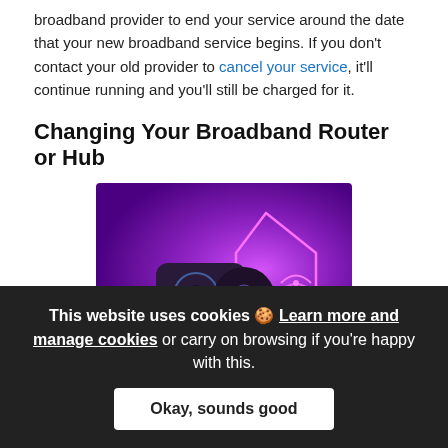broadband provider to end your service around the date that your new broadband service begins. If you don't contact your old provider to cancel your service, it'll continue running and you'll still be charged for it.
Changing Your Broadband Router or Hub
[Figure (photo): Photo of broadband router/hub devices against a purple glowing background with a house outline shape. A small circular badge is visible in the lower center.]
In advance of your broadband switchover, you'll be sent a
This website uses cookies 🍪 Learn more and manage cookies or carry on browsing if you're happy with this.
Okay, sounds good